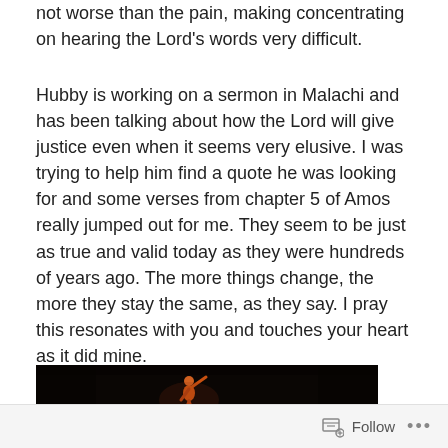not worse than the pain, making concentrating on hearing the Lord's words very difficult.
Hubby is working on a sermon in Malachi and has been talking about how the Lord will give justice even when it seems very elusive. I was trying to help him find a quote he was looking for and some verses from chapter 5 of Amos really jumped out for me. They seem to be just as true and valid today as they were hundreds of years ago. The more things change, the more they stay the same, as they say. I pray this resonates with you and touches your heart as it did mine.
[Figure (photo): Dark atmospheric image showing a stylized orange/red figure kneeling or bowing on what appears to be a dark surface, dramatic low-light composition]
Follow ···